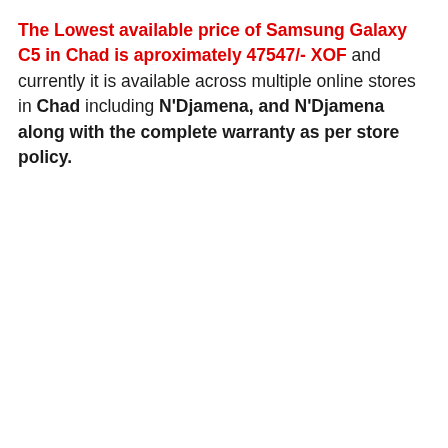The Lowest available price of Samsung Galaxy C5 in Chad is aproximately 47547/- XOF and currently it is available across multiple online stores in Chad including N'Djamena, and N'Djamena along with the complete warranty as per store policy.